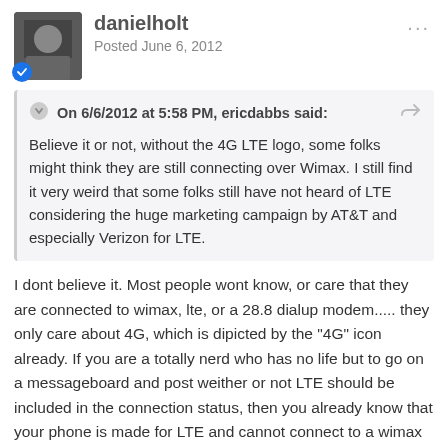danielholt
Posted June 6, 2012
On 6/6/2012 at 5:58 PM, ericdabbs said:
Believe it or not, without the 4G LTE logo, some folks might think they are still connecting over Wimax. I still find it very weird that some folks still have not heard of LTE considering the huge marketing campaign by AT&T and especially Verizon for LTE.
I dont believe it. Most people wont know, or care that they are connected to wimax, lte, or a 28.8 dialup modem..... they only care about 4G, which is dipicted by the "4G" icon already. If you are a totally nerd who has no life but to go on a messageboard and post weither or not LTE should be included in the connection status, then you already know that your phone is made for LTE and cannot connect to a wimax network anyways.